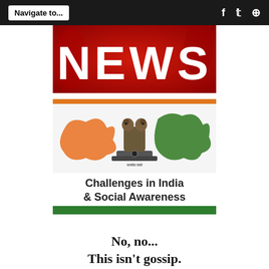Navigate to...
[Figure (illustration): Red NEWS banner with large white bold text 'NEWS']
[Figure (illustration): India national emblem (Ashoka Lions) with Indian flag colors orange and green paint splash background]
Challenges in India & Social Awareness
No, no... This isn't gossip.